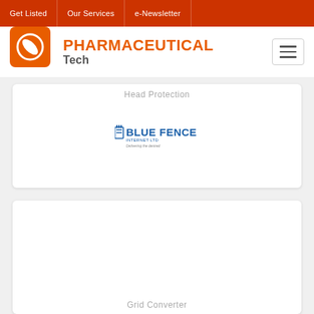Get Listed | Our Services | e-Newsletter
[Figure (logo): Pharmaceutical Tech website logo with orange pill icon and orange/grey wordmark]
Head Protection
[Figure (logo): Blue Fence Internet Ltd logo - Delivering the desired]
Grid Converter